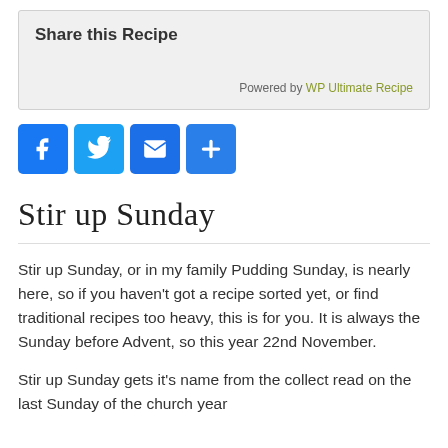Share this Recipe
Powered by WP Ultimate Recipe
[Figure (other): Social share buttons: Facebook, Twitter, Email, and more (+)]
Stir up Sunday
Stir up Sunday, or in my family Pudding Sunday, is nearly here, so if you haven't got a recipe sorted yet, or find traditional recipes too heavy, this is for you. It is always the Sunday before Advent, so this year 22nd November.
Stir up Sunday gets it's name from the collect read on the last Sunday of the church year